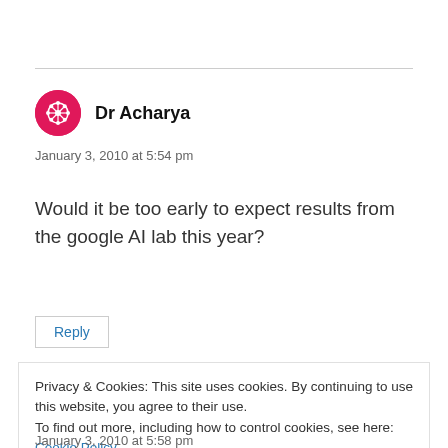Dr Acharya
January 3, 2010 at 5:54 pm
Would it be too early to expect results from the google AI lab this year?
Reply
Privacy & Cookies: This site uses cookies. By continuing to use this website, you agree to their use.
To find out more, including how to control cookies, see here: Cookie Policy
Close and accept
January 3, 2010 at 5:58 pm